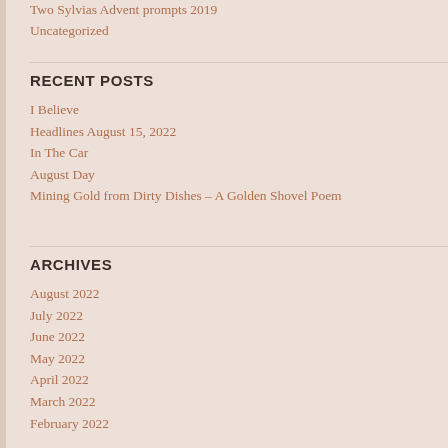Two Sylvias Advent prompts 2019
Uncategorized
RECENT POSTS
I Believe
Headlines August 15, 2022
In The Car
August Day
Mining Gold from Dirty Dishes – A Golden Shovel Poem
ARCHIVES
August 2022
July 2022
June 2022
May 2022
April 2022
March 2022
February 2022